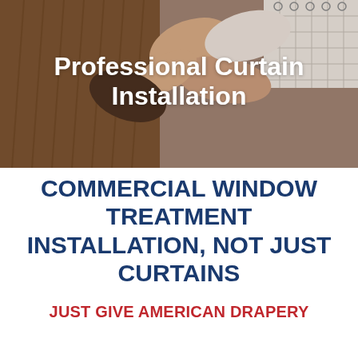[Figure (photo): Close-up photo of hands installing curtains, showing a person threading curtain hooks or rings onto a curtain rod, with brown pleated fabric curtain and white eyelet curtain visible in the background.]
Professional Curtain Installation
COMMERCIAL WINDOW TREATMENT INSTALLATION, NOT JUST CURTAINS
JUST GIVE AMERICAN DRAPERY